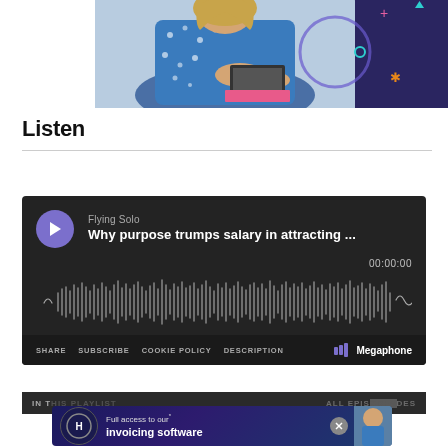[Figure (photo): Woman in blue floral dress working on laptop, with dark navy decorative background with colorful star/cross icons]
Listen
[Figure (screenshot): Embedded podcast player from Megaphone. Shows 'Flying Solo' podcast, episode 'Why purpose trumps salary in attracting...', with play button, waveform visualization, time 00:00:00, and footer with SHARE, SUBSCRIBE, COOKIE POLICY, DESCRIPTION, and Megaphone logo.]
[Figure (screenshot): Advertisement banner: 'Full access to our* invoicing software' with Hnry logo on dark navy background with stars, and woman photo on right. Partially overlapping bottom of player.]